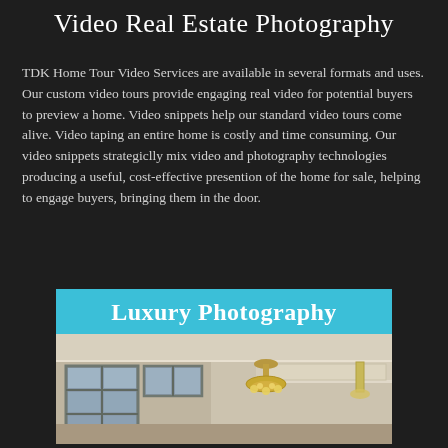Video Real Estate Photography
TDK Home Tour Video Services are available in several formats and uses. Our custom video tours provide engaging real video for potential buyers to preview a home. Video snippets help our standard video tours come alive. Video taping an entire home is costly and time consuming. Our video snippets strategiclly mix video and photography technologies producing a useful, cost-effective presention of the home for sale, helping to engage buyers, bringing them in the door.
Luxury Photography
[Figure (photo): Interior photo of a luxury home showing high ceilings with large windows on the left, a chandelier in the center, and architectural details including crown molding and a tray ceiling on the right.]